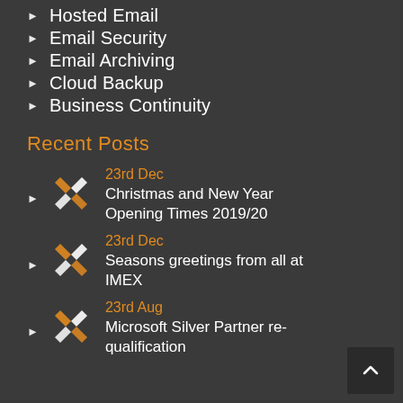Hosted Email
Email Security
Email Archiving
Cloud Backup
Business Continuity
Recent Posts
23rd Dec
Christmas and New Year Opening Times 2019/20
23rd Dec
Seasons greetings from all at IMEX
23rd Aug
Microsoft Silver Partner re-qualification